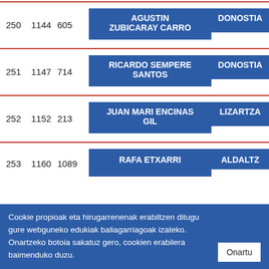| # | ID | Code | Name | Location |
| --- | --- | --- | --- | --- |
| 250 | 1144 | 605 | AGUSTIN ZUBICARAY CARRO | DONOSTIA |
| 251 | 1147 | 714 | RICARDO SEMPERE SANTOS | DONOSTIA |
| 252 | 1152 | 213 | JUAN MARI ENCINAS GIL | LIZARTZA |
| 253 | 1160 | 1089 | RAFA ETXARRI | ALDALTZ |
Cookie propioak eta hirugarrenenak erabiltzen ditugu gure webguneko edukiak baliagarriagoak izateko. Onartzeko botoia sakatuz gero, cookien erabilera baimenduko duzu.